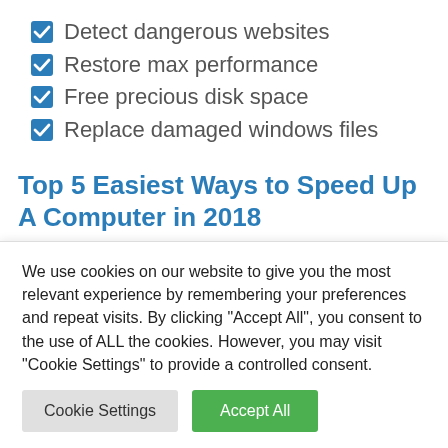Detect dangerous websites
Restore max performance
Free precious disk space
Replace damaged windows files
Top 5 Easiest Ways to Speed Up A Computer in 2018
It's 2018 and your computer, your laptop, or your tablet is slow. What do you do? How can you improve performance without spending a lot of time or money
We use cookies on our website to give you the most relevant experience by remembering your preferences and repeat visits. By clicking "Accept All", you consent to the use of ALL the cookies. However, you may visit "Cookie Settings" to provide a controlled consent.